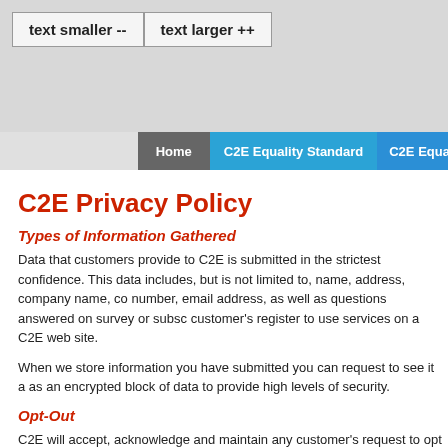text smaller --   text larger ++
Home   C2E Equality Standard   C2E Equali...
C2E Privacy Policy
Types of Information Gathered
Data that customers provide to C2E is submitted in the strictest confidence. This data includes, but is not limited to, name, address, company name, co... number, email address, as well as questions answered on survey or subsc... customer's register to use services on a C2E web site.
When we store information you have submitted you can request to see it a... as an encrypted block of data to provide high levels of security.
Opt-Out
C2E will accept, acknowledge and maintain any customer's request to opt...